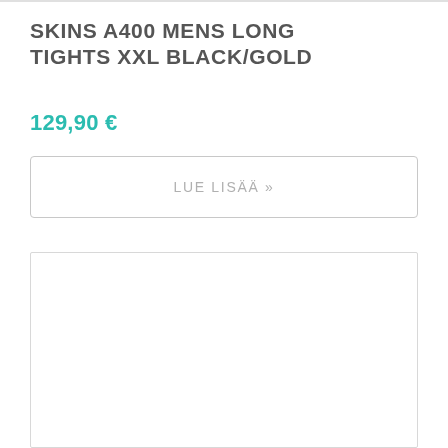SKINS A400 MENS LONG TIGHTS XXL BLACK/GOLD
129,90 €
LUE LISÄÄ »
[Figure (other): Empty white rectangle with light gray border, representing a product image placeholder]